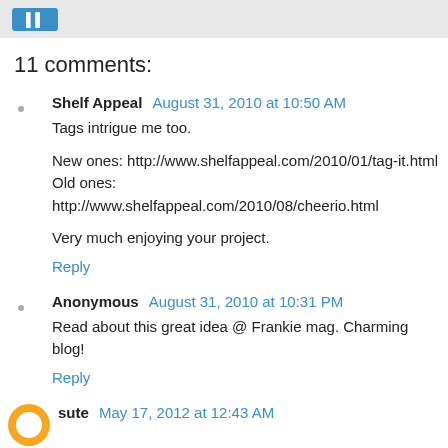11 comments:
Shelf Appeal  August 31, 2010 at 10:50 AM
Tags intrigue me too.

New ones: http://www.shelfappeal.com/2010/01/tag-it.html
Old ones: http://www.shelfappeal.com/2010/08/cheerio.html

Very much enjoying your project.
Reply
Anonymous  August 31, 2010 at 10:31 PM
Read about this great idea @ Frankie mag. Charming blog!
Reply
sute  May 17, 2012 at 12:43 AM